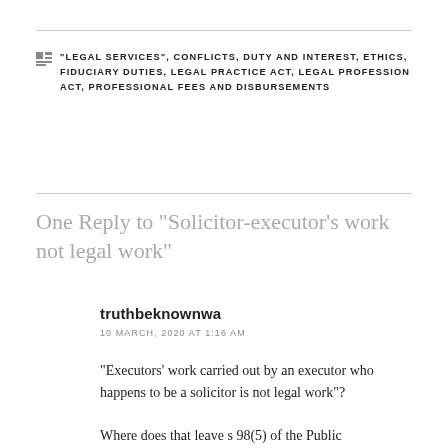"LEGAL SERVICES", CONFLICTS, DUTY AND INTEREST, ETHICS, FIDUCIARY DUTIES, LEGAL PRACTICE ACT, LEGAL PROFESSION ACT, PROFESSIONAL FEES AND DISBURSEMENTS
One Reply to “Solicitor-executor’s work not legal work”
truthbeknownwa
10 MARCH, 2020 AT 1:16 AM
“Executors’ work carried out by an executor who happens to be a solicitor is not legal work”?
Where does that leave s 98(5) of the Public